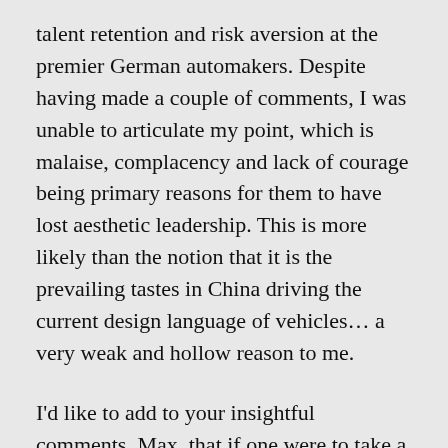talent retention and risk aversion at the premier German automakers. Despite having made a couple of comments, I was unable to articulate my point, which is malaise, complacency and lack of courage being primary reasons for them to have lost aesthetic leadership. This is more likely than the notion that it is the prevailing tastes in China driving the current design language of vehicles… a very weak and hollow reason to me.
I'd like to add to your insightful comments, Max, that if one were to take a casual stroll down the middle class or affluent streets in cities in China, one would be hard pressed to say that gaudiness and extreme tastelessness